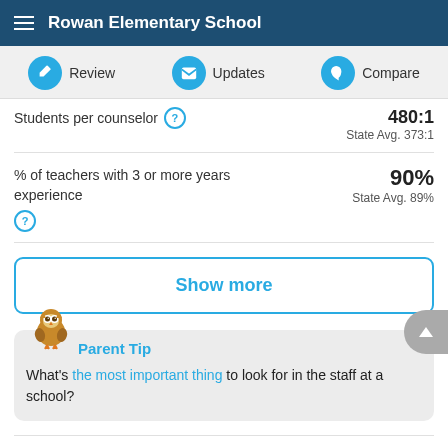Rowan Elementary School
Review  Updates  Compare
Students per counselor  480:1  State Avg. 373:1
% of teachers with 3 or more years experience  90%  State Avg. 89%
Show more
Parent Tip
What's the most important thing to look for in the staff at a school?